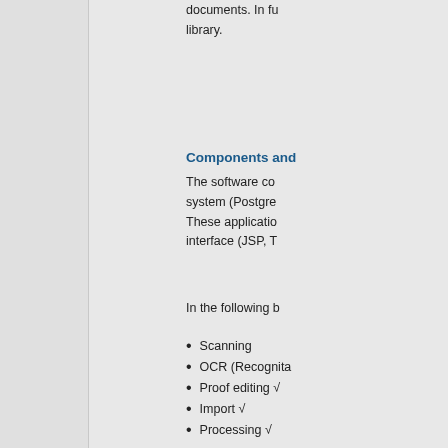documents. In fu library.
Components and
The software co system (Postgre These applicatio interface (JSP, T
In the following b
Scanning
OCR (Recognita
Proof editing √
Import √
Processing √
Storage √
Publication (sea
Proofing can be editor form. At „D two ways: one b
From the viewpo